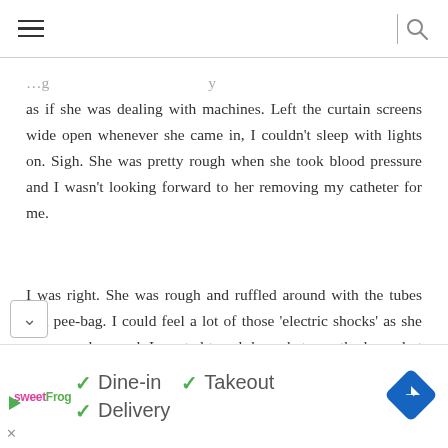Navigation header with hamburger menu and search icon
as if she was dealing with machines. Left the curtain screens wide open whenever she came in, I couldn't sleep with lights on. Sigh. She was pretty rough when she took blood pressure and I wasn't looking forward to her removing my catheter for me.
I was right. She was rough and ruffled around with the tubes and pee-bag. I could feel a lot of those 'electric shocks' as she rummaged around. I wanted to ask her what was the hurry but decided not to say a word. Wise men shouldn't. Before long she was ready and told me to take a deep
[Figure (infographic): Advertisement bar showing sweetFrog logo, checkmarks for Dine-in, Takeout, Delivery options, navigation arrow icon, play and close buttons]